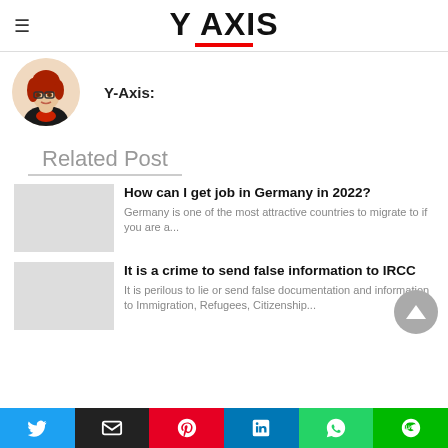Y AXIS
[Figure (illustration): Avatar illustration of a woman with red hair and glasses, wearing a dark blazer and red scarf, circular crop]
Y-Axis:
Related Post
How can I get job in Germany in 2022?
Germany is one of the most attractive countries to migrate to if you are a...
It is a crime to send false information to IRCC
It is perilous to lie or send false documentation and information to Immigration, Refugees, Citizenship...
Twitter | Email | Pinterest | LinkedIn | WhatsApp | Line